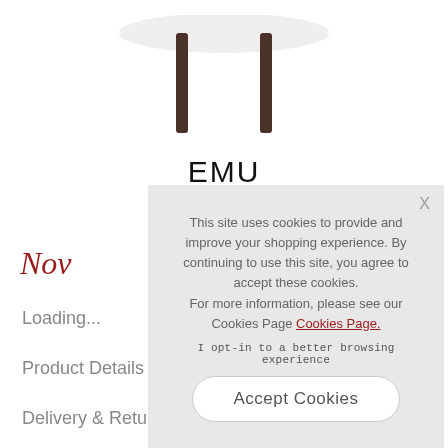[Figure (photo): Partial view of furniture legs (dark wood/metal) of a table or stool against white background]
EMU
Nov
Loading...
Product Details
Delivery & Return
This site uses cookies to provide and improve your shopping experience. By continuing to use this site, you agree to accept these cookies. For more information, please see our Cookies Page Cookies Page.
I opt-in to a better browsing experience
Accept Cookies